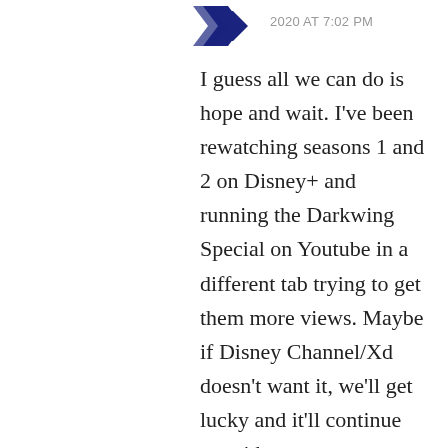[Figure (logo): Dark navy blue arrow/chevron logo icon, partially visible at top center]
2020 AT 7:02 PM
I guess all we can do is hope and wait. I've been rewatching seasons 1 and 2 on Disney+ and running the Darkwing Special on Youtube in a different tab trying to get them more views. Maybe if Disney Channel/Xd doesn't want it, we'll get lucky and it'll continue on with more seasons on Disney+ like Paul Rudish's Mickey Mouse Show.